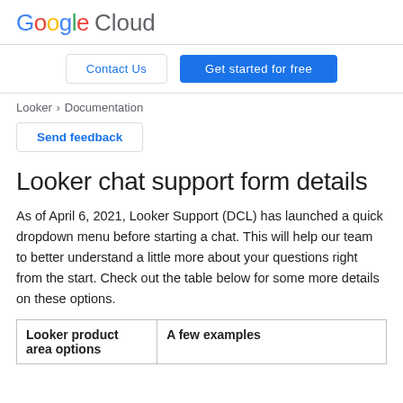Google Cloud
Contact Us | Get started for free
Looker > Documentation
Send feedback
Looker chat support form details
As of April 6, 2021, Looker Support (DCL) has launched a quick dropdown menu before starting a chat. This will help our team to better understand a little more about your questions right from the start. Check out the table below for some more details on these options.
| Looker product area options | A few examples |
| --- | --- |